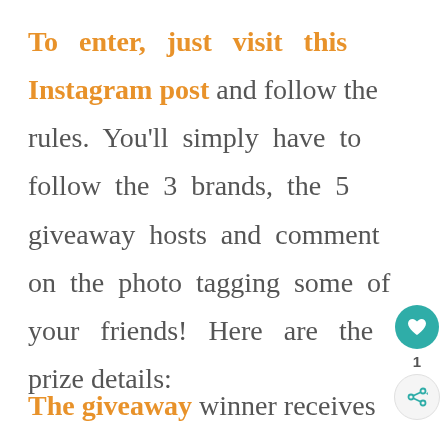To enter, just visit this Instagram post and follow the rules. You'll simply have to follow the 3 brands, the 5 giveaway hosts and comment on the photo tagging some of your friends! Here are the prize details:
The giveaway winner receives